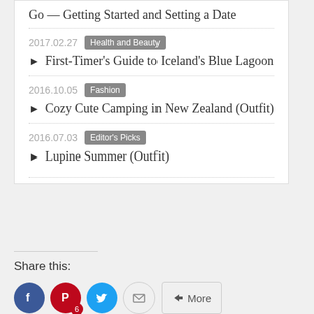Go — Getting Started and Setting a Date
2017.02.27  Health and Beauty
First-Timer's Guide to Iceland's Blue Lagoon
2016.10.05  Fashion
Cozy Cute Camping in New Zealand (Outfit)
2016.07.03  Editor's Picks
Lupine Summer (Outfit)
Share this: